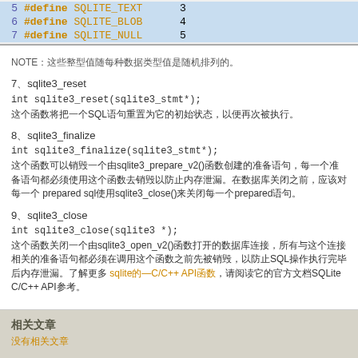#define SQLITE_TEXT 3
#define SQLITE_BLOB 4
#define SQLITE_NULL 5
NOTE：这些整型值随每种数据类型值是随机排列的。
7、sqlite3_reset
int sqlite3_reset(sqlite3_stmt*);
这个函数将把一个SQL语句重置为它的初始状态，以便再次被执行。
8、sqlite3_finalize
int sqlite3_finalize(sqlite3_stmt*);
这个函数可以销毁一个由sqlite3_prepare_v2()函数创建的准备语句，每一个准备语句都必须使用这个函数去销毁以防止内存泄漏。在数据库关闭之前，应该对每一个prepared sql使用sqlite3_close()来关闭每一个prepared语句。
9、sqlite3_close
int sqlite3_close(sqlite3 *);
这个函数关闭一个由sqlite3_open_v2()函数打开的数据库连接，所有与这个连接相关的准备语句都必须在调用这个函数之前先被销毁，以防止SQL操作执行完毕后内存泄漏。了解更多 sqlite的—C/C++ API函数，请阅读它的官方文档SQLite C/C++ API参考。
相关文章
没有相关文章